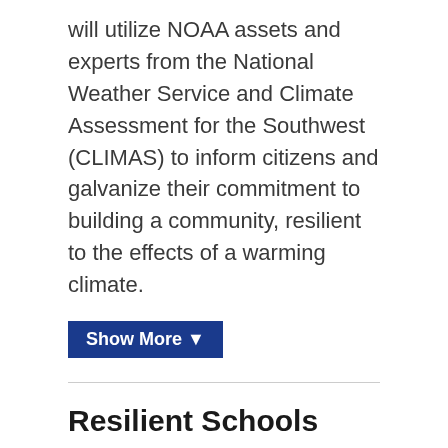will utilize NOAA assets and experts from the National Weather Service and Climate Assessment for the Southwest (CLIMAS) to inform citizens and galvanize their commitment to building a community, resilient to the effects of a warming climate.
Show More ▼
Resilient Schools Consortium (RiSC) Program
Research Foundation of CUNY / Brooklyn College · Brooklyn, New York